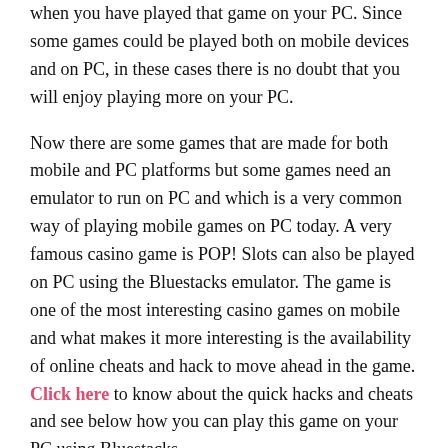when you have played that game on your PC. Since some games could be played both on mobile devices and on PC, in these cases there is no doubt that you will enjoy playing more on your PC.
Now there are some games that are made for both mobile and PC platforms but some games need an emulator to run on PC and which is a very common way of playing mobile games on PC today. A very famous casino game is POP! Slots can also be played on PC using the Bluestacks emulator. The game is one of the most interesting casino games on mobile and what makes it more interesting is the availability of online cheats and hack to move ahead in the game. Click here to know about the quick hacks and cheats and see below how you can play this game on your PC using Bluestacks.